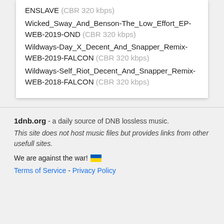ENSLAVE (CBR 320 kbps)
Wicked_Sway_And_Benson-The_Low_Effort_EP-WEB-2019-OND (CBR 320 kbps)
Wildways-Day_X_Decent_And_Snapper_Remix-WEB-2019-FALCON (CBR 320 kbps)
Wildways-Self_Riot_Decent_And_Snapper_Remix-WEB-2018-FALCON (CBR 320 kbps)
1dnb.org - a daily source of DNB lossless music. This site does not host music files but provides links from other usefull sites. We are against the war! Terms of Service - Privacy Policy